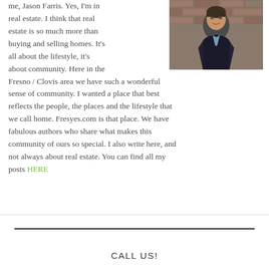me, Jason Farris. Yes, I'm in real estate. I think that real estate is so much more than buying and selling homes. It's all about the lifestyle, it's about community. Here in the Fresno / Clovis area we have such a wonderful sense of community. I wanted a place that best reflects the people, the places and the lifestyle that we call home. Fresyes.com is that place. We have fabulous authors who share what makes this community of ours so special. I also write here, and not always about real estate. You can find all my posts HERE
[Figure (photo): Professional headshot of Jason Farris, a man in a dark blazer and light blue shirt, smiling, against a brick wall background.]
CALL US!